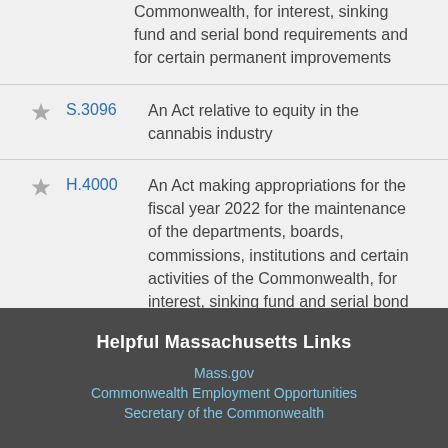Commonwealth, for interest, sinking fund and serial bond requirements and for certain permanent improvements
S.3096 – An Act relative to equity in the cannabis industry
H.4000 – An Act making appropriations for the fiscal year 2022 for the maintenance of the departments, boards, commissions, institutions and certain activities of the Commonwealth, for interest, sinking fund and serial bond requirements and for certain permanent improvements
Helpful Massachusetts Links
Mass.gov
Commonwealth Employment Opportunities
Secretary of the Commonwealth